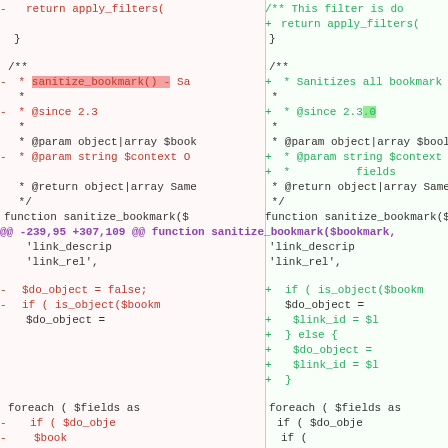[Figure (screenshot): A side-by-side diff view of PHP source code showing changes to a sanitize_bookmark() function. Left pane (red/removed) and right pane (green/added) with highlighted change markers, hunk headers in purple, removed lines in red background and added lines in green background.]